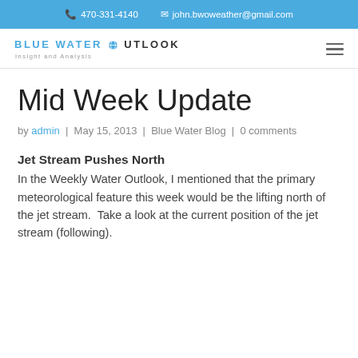470-331-4140   john.bwoweather@gmail.com
[Figure (logo): Blue Water Outlook logo with globe icon and tagline 'Insight and Analysis']
Mid Week Update
by admin | May 15, 2013 | Blue Water Blog | 0 comments
Jet Stream Pushes North
In the Weekly Water Outlook, I mentioned that the primary meteorological feature this week would be the lifting north of the jet stream.  Take a look at the current position of the jet stream (following).